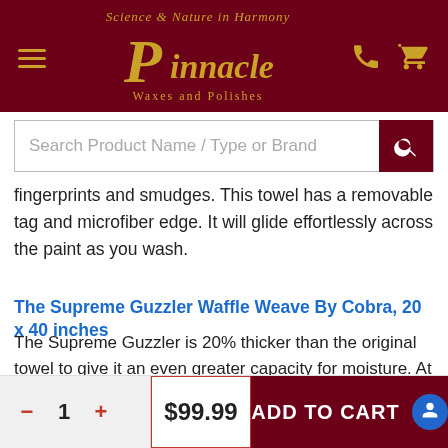[Figure (logo): Pinnacle Waxes and Polishes logo with Science & Nature in Harmony tagline, gold on dark red background, with hamburger menu, phone and cart icons]
Search Product Name / Type or Brand
fingerprints and smudges. This towel has a removable tag and microfiber edge. It will glide effortlessly across the paint as you wash.
The Supreme Guzzler Waffle Weave By Cobra, 20 x 40 inches
The Supreme Guzzler is 20% thicker than the original towel to give it an even greater capacity for moisture. At approximately 5.5 square feet, this waffle weave towel can dry most small cars without being rung out once! As you may well know, microfiber is made of two synthetic fibers: polyester and polyamide. Polyester
1  $99.99  ADD TO CART